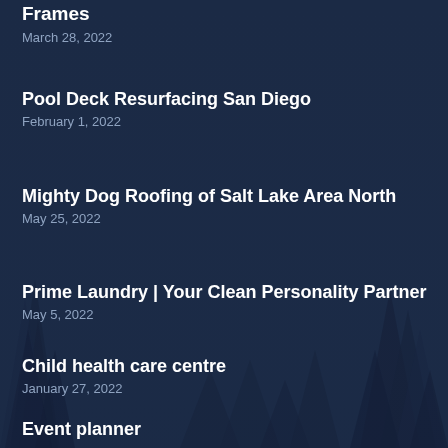Frames — March 28, 2022
Pool Deck Resurfacing San Diego — February 1, 2022
Mighty Dog Roofing of Salt Lake Area North — May 25, 2022
Prime Laundry | Your Clean Personality Partner — May 5, 2022
Child health care centre — January 27, 2022
Event planner